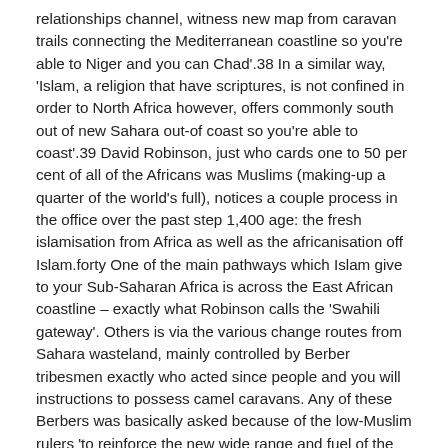relationships channel, witness new map from caravan trails connecting the Mediterranean coastline so you're able to Niger and you can Chad'.38 In a similar way, 'Islam, a religion that have scriptures, is not confined in order to North Africa however, offers commonly south out of new Sahara out-of coast so you're able to coast'.39 David Robinson, just who cards one to 50 per cent of all of the Africans was Muslims (making-up a quarter of the world's full), notices a couple process in the office over the past step 1,400 age: the fresh islamisation from Africa as well as the africanisation off Islam.forty One of the main pathways which Islam give to your Sub-Saharan Africa is across the East African coastline – exactly what Robinson calls the 'Swahili gateway'. Others is via the various change routes from Sahara wasteland, mainly controlled by Berber tribesmen exactly who acted since people and you will instructions to possess camel caravans. Any of these Berbers was basically asked because of the low-Muslim rulers 'to reinforce the new wide range and fuel of the dominions'.41 Someone else, for instance the Almoravids, observed a far more militant position and enforced Islam of the army conquest (because Mohamed's early Bedouin followers had complete). But in distribute southern of your own Sahara, Islam try appropriated or articulated in several societies and that 'authored "Muslim" place or made Islam the own'.42 Given that David Robinson next cards, 'Muslims in various areas of Africa was